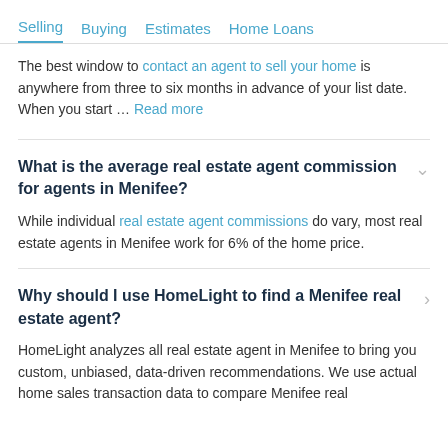Selling   Buying   Estimates   Home Loans
The best window to contact an agent to sell your home is anywhere from three to six months in advance of your list date. When you start … Read more
What is the average real estate agent commission for agents in Menifee?
While individual real estate agent commissions do vary, most real estate agents in Menifee work for 6% of the home price.
Why should I use HomeLight to find a Menifee real estate agent?
HomeLight analyzes all real estate agent in Menifee to bring you custom, unbiased, data-driven recommendations. We use actual home sales transaction data to compare Menifee real